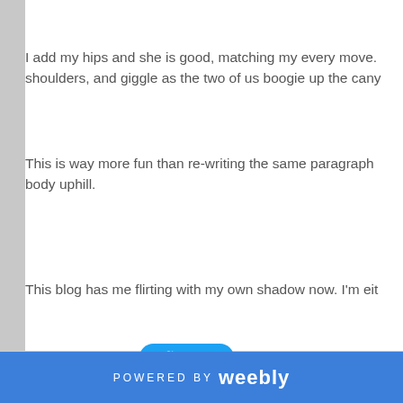I add my hips and she is good, matching my every move. shoulders, and giggle as the two of us boogie up the cany
This is way more fun than re-writing the same paragraph body uphill.
This blog has me flirting with my own shadow now. I'm eit
[Figure (other): Twitter Tweet button — blue rounded rectangle with Twitter bird icon and 'Tweet' text]
3 Comments
POWERED BY weebly